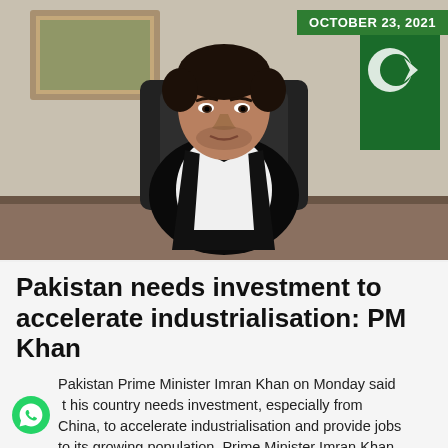OCTOBER 23, 2021
[Figure (photo): Pakistan Prime Minister Imran Khan seated in front of a desk, wearing a white shirt and black vest, with a Pakistani flag visible in the background.]
Pakistan needs investment to accelerate industrialisation: PM Khan
Pakistan Prime Minister Imran Khan on Monday said that his country needs investment, especially from China, to accelerate industrialisation and provide jobs to its growing population. Prime Minister Imran Khan